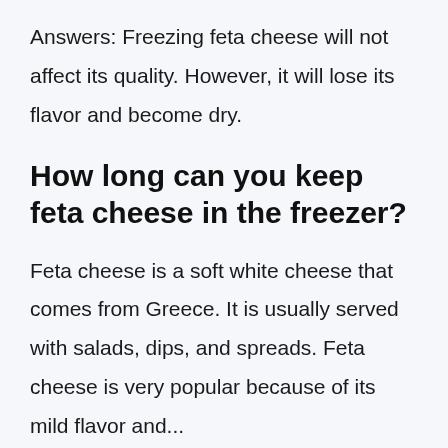Answers: Freezing feta cheese will not affect its quality. However, it will lose its flavor and become dry.
How long can you keep feta cheese in the freezer?
Feta cheese is a soft white cheese that comes from Greece. It is usually served with salads, dips, and spreads. Feta cheese is very popular because of its mild flavor and...